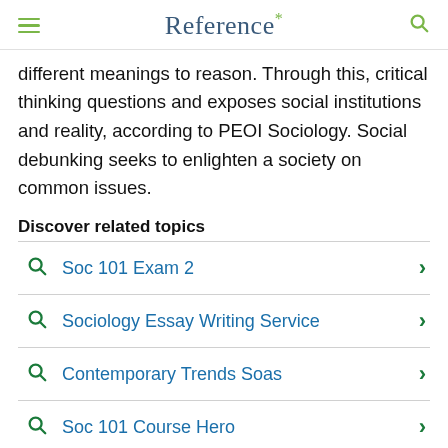Reference*
different meanings to reason. Through this, critical thinking questions and exposes social institutions and reality, according to PEOI Sociology. Social debunking seeks to enlighten a society on common issues.
Discover related topics
Soc 101 Exam 2
Sociology Essay Writing Service
Contemporary Trends Soas
Soc 101 Course Hero